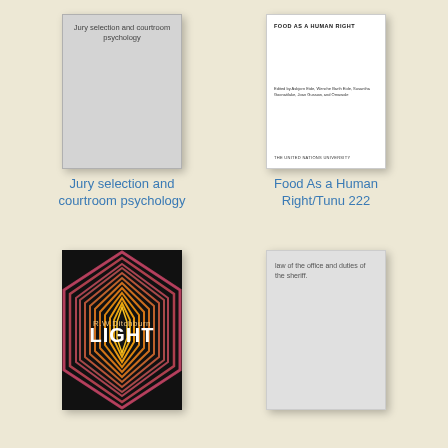[Figure (illustration): Book cover of 'Jury selection and courtroom psychology' — gray cover with title text at top]
Jury selection and courtroom psychology
[Figure (illustration): Book cover of 'Food As a Human Right/Tunu 222' — white cover with title and editors text, United Nations University footer]
Food As a Human Right/Tunu 222
[Figure (illustration): Book cover of 'Light' by R.W. Ditchburn — dark black cover with geometric octagon pattern in red/orange/yellow tones and title 'LIGHT' in large white letters]
[Figure (illustration): Book cover — light gray cover with text 'law of the office and duties of the sheriff.']